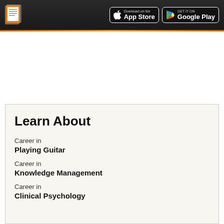Download on the App Store | GET IT ON Google Play
Learn About
Career in
Playing Guitar
Career in
Knowledge Management
Career in
Clinical Psychology